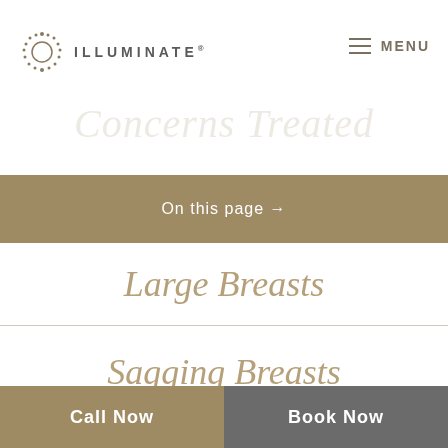[Figure (logo): Illuminate logo with sun/starburst icon and brand name text]
Concerns Treated
On this page →
Large Breasts
Sagging Breasts
Call Now | Book Now